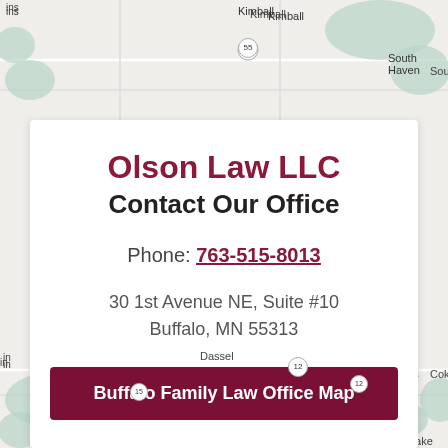[Figure (map): Road map background showing towns including Kimball, South Haven, Dassel, Cokato, Smith Lake, Howard Lake with roads and green shaded areas]
Olson Law LLC
Contact Our Office
Phone: 763-515-8013
30 1st Avenue NE, Suite #10
Buffalo, MN 55313
Buffalo Family Law Office Map